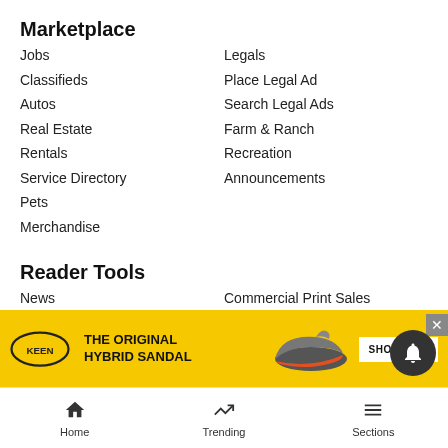Marketplace
Jobs
Legals
Classifieds
Place Legal Ad
Autos
Search Legal Ads
Real Estate
Farm & Ranch
Rentals
Recreation
Service Directory
Announcements
Pets
Merchandise
Reader Tools
News
Commercial Print Sales
Contact Us
RSS
Become a Carrier
AP News
Submissions
Post Independent E-Edition
Submit an Obituary
Citizen Telegram E-Edition
Advertis…
Archives…
Newslet…
[Figure (infographic): Keen shoes advertisement banner: yellow background, Keen logo, text 'THE ORIGINAL HYBRID SANDAL', shoe image, SHOP NOW button]
Home   Trending   Sections